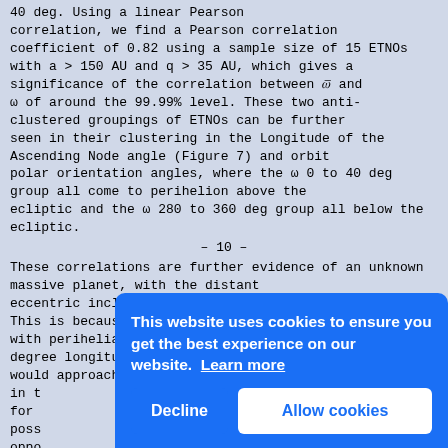40 deg. Using a linear Pearson correlation, we find a Pearson correlation coefficient of 0.82 using a sample size of 15 ETNOs with a > 150 AU and q > 35 AU, which gives a significance of the correlation between ω̄ and ω of around the 99.99% level. These two anti-clustered groupings of ETNOs can be further seen in their clustering in the Longitude of the Ascending Node angle (Figure 7) and orbit polar orientation angles, where the ω 0 to 40 deg group all come to perihelion above the ecliptic and the ω 280 to 360 deg group all below the ecliptic.
– 10 –
These correlations are further evidence of an unknown massive planet, with the distant eccentric inclined orbit shown by BB2016 possible. This is because extreme eccentric objects with perihelia on opposite sides of the sky (180 degree longitude of perihelion differences) would approach the inclined planet at opposite points in t... for ... poss... oppo... avoi... oppo... angl... is b... oppo... also... perihelia. The two ETNO groups seem to show some sort of resonance behaviour with multiple
This website uses cookies to ensure you get the best experience on our website. Learn more
Decline
Allow cookies